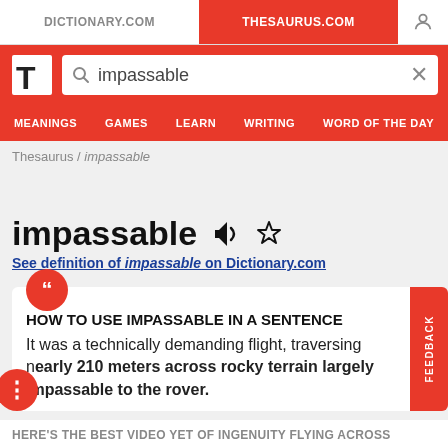DICTIONARY.COM | THESAURUS.COM
[Figure (screenshot): Search bar with 'impassable' typed in, with magnifying glass icon and X clear button, on red background with T logo]
MEANINGS  GAMES  LEARN  WRITING  WORD OF THE DAY
Thesaurus / impassable
impassable
See definition of impassable on Dictionary.com
HOW TO USE IMPASSABLE IN A SENTENCE
It was a technically demanding flight, traversing nearly 210 meters across rocky terrain largely impassable to the rover.
HERE'S THE BEST VIDEO YET OF INGENUITY FLYING ACROSS